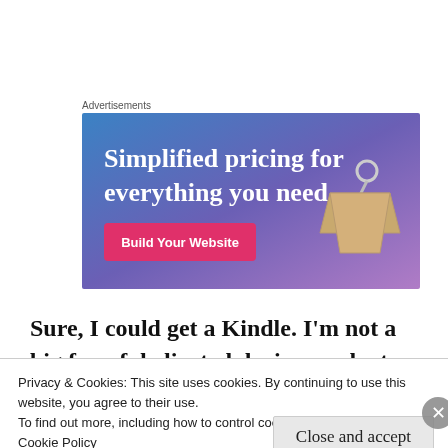Advertisements
[Figure (illustration): Advertisement banner with gradient blue-purple background showing text 'Simplified pricing for everything you need.' with a pink 'Build Your Website' button and an image of a price tag.]
Sure, I could get a Kindle. I'm not a big fan of dedicated devices and, at least on paper, I find
Privacy & Cookies: This site uses cookies. By continuing to use this website, you agree to their use.
To find out more, including how to control cookies, see here:
Cookie Policy
Close and accept